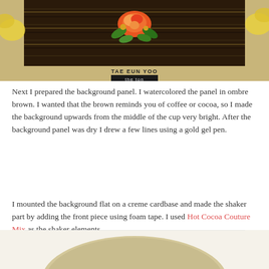[Figure (photo): A handmade card with a dark wood-striped background in ombre brown, featuring a colorful rose and green leaves decoration, with 'TAE EUN YOO' text and 'the ton' label at the bottom, placed on a sandy/beige surface with yellow flowers in background.]
Next I prepared the background panel. I watercolored the panel in ombre brown. I wanted that the brown reminds you of coffee or cocoa, so I made the background upwards from the middle of the cup very bright. After the background panel was dry I drew a few lines using a gold gel pen.
I mounted the background flat on a creme cardbase and made the shaker part by adding the front piece using foam tape. I used Hot Cocoa Couture Mix as the shaker elements.
[Figure (photo): Bottom portion of an image showing a light beige/tan oval or round object on a white background, partially cropped.]